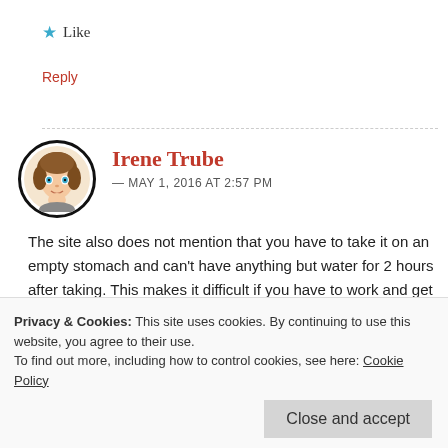★ Like
Reply
Irene Trube — MAY 1, 2016 AT 2:57 PM
The site also does not mention that you have to take it on an empty stomach and can't have anything but water for 2 hours after taking. This makes it difficult if you have to work and get out quickly in the morning.
Privacy & Cookies: This site uses cookies. By continuing to use this website, you agree to their use. To find out more, including how to control cookies, see here: Cookie Policy
Close and accept